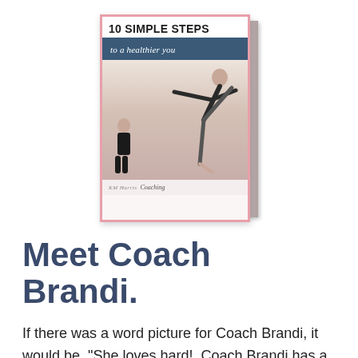[Figure (illustration): Book cover for '10 Simple Steps to a Healthier You' showing a woman in a yoga pose, with a smaller figure of Coach Brandi in the corner, pink border, and a teal subtitle banner. A book spine is visible on the right side.]
Meet Coach Brandi.
If there was a word picture for Coach Brandi, it would be, "She loves hard!  Coach Brandi has a passion to see her clients come to their ultimate